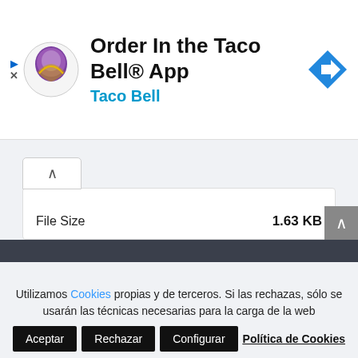[Figure (screenshot): Taco Bell app advertisement banner with logo, title 'Order In the Taco Bell® App', subtitle 'Taco Bell' in cyan, and a blue navigation arrow icon on the right.]
File Size
1.63 KB
Downloads
21
DESCARGAR
Utilizamos Cookies propias y de terceros. Si las rechazas, sólo se usarán las técnicas necesarias para la carga de la web
Aceptar
Rechazar
Configurar
Política de Cookies